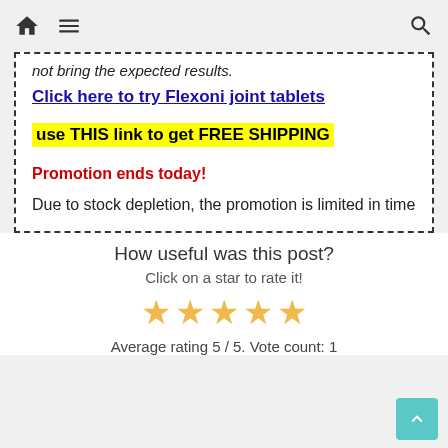not bring the expected results.
Click here to try Flexoni joint tablets
use THIS link to get FREE SHIPPING
Promotion ends today!
Due to stock depletion, the promotion is limited in time
How useful was this post?
Click on a star to rate it!
[Figure (other): Five gold/yellow stars rating widget]
Average rating 5 / 5. Vote count: 1